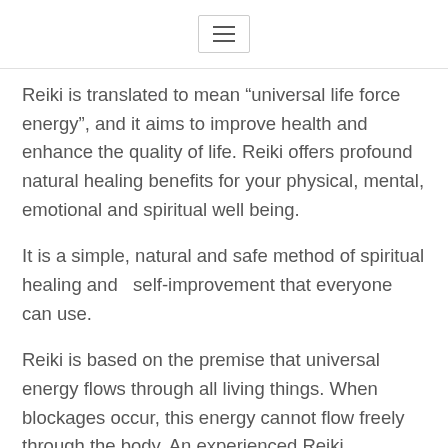Reiki is translated to mean “universal life force energy”, and it aims to improve health and enhance the quality of life. Reiki offers profound natural healing benefits for your physical, mental, emotional and spiritual well being.
It is a simple, natural and safe method of spiritual healing and  self-improvement that everyone can use.
Reiki is based on the premise that universal energy flows through all living things. When blockages occur, this energy cannot flow freely through the body. An experienced Reiki practitioner can tap into the universal energy and channel energy to move these blockages. With these blockages removed, it is claimed, the body cells are then prompted to heal